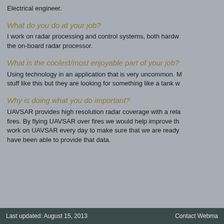Electrical engineer.
What do you do at your job?
I work on radar processing and control systems, both hardware and software. I am responsible for the on-board radar processor.
What is the coolest/most enjoyable part of your job?
Using technology in an application that is very uncommon. Most people don't work on stuff like this but they are looking for something like a tank w...
Why is doing what you do important?
UAVSAR provides high resolution radar coverage with a relatively quick turnaround over fires. By flying UAVSAR over fires we would help improve the data. We work on UAVSAR every day to make sure that we are ready and so far we have been able to provide that data.
Last updated: August 15, 2013    Contact Webma...